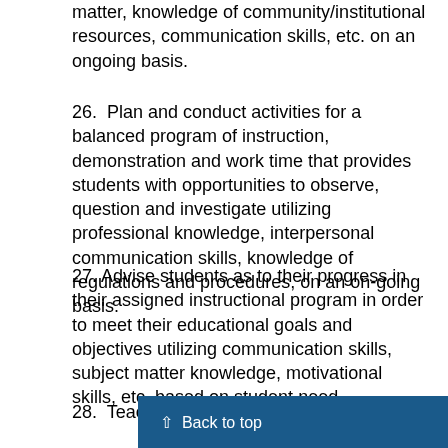matter, knowledge of community/institutional resources, communication skills, etc. on an ongoing basis.
26.  Plan and conduct activities for a balanced program of instruction, demonstration and work time that provides students with opportunities to observe, question and investigate utilizing professional knowledge, interpersonal communication skills, knowledge of regulations and procedures, on an on-going basis.
27. Advise students as to their progress in their assigned instructional program in order to meet their educational goals and objectives utilizing communication skills, subject matter knowledge, motivational skills, etc. based on student need.
28.  Teach students the proper use of [continues] in order to certify students in the mastery of the